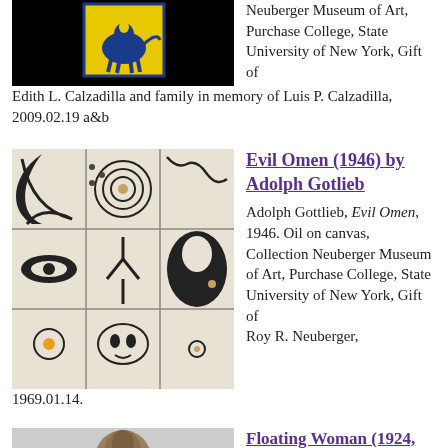[Figure (photo): Black background painting with yellow square and blue animal figure (top cropped)]
Neuberger Museum of Art, Purchase College, State University of New York, Gift of Edith L. Calzadilla and family in memory of Luis P. Calzadilla, 2009.02.19 a&b
[Figure (photo): Adolph Gotlieb Evil Omen painting, abstract pictographic style with black and white shapes on grid]
Evil Omen (1946) by Adolph Gotlieb
Adolph Gottlieb, Evil Omen, 1946. Oil on canvas, Collection Neuberger Museum of Art, Purchase College, State University of New York, Gift of Roy R. Neuberger, 1969.01.14.
[Figure (photo): Floating Woman sculpture, bronze, partially visible]
Floating Woman (1924, casting 1935) by Cont...